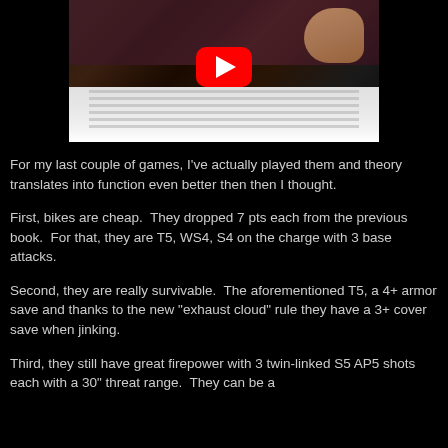[Figure (screenshot): YouTube video thumbnail showing an open book/rulebook being held, with a red YouTube play button overlay in the center. Dark background.]
For my last couple of games, I've actually played them and theory translates into function even better then then I thought.
First, bikes are cheap.  They dropped 7 pts each from the previous book.  For that, they are T5, WS4, S4 on the charge with 3 base attacks.
Second, they are really survivable.  The aforementioned T5, a 4+ armor save and thanks to the new "exhaust cloud" rule they have a 3+ cover save when jinking.
Third, they still have great firepower with 3 twin-linked S5 AP5 shots each with a 30" threat range.  They can be a